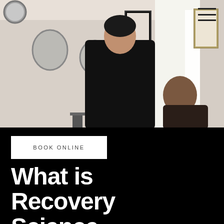[Figure (photo): A healthcare professional consultation scene in a clinic room with mirrors, framed artwork on walls, and a bright window. Two people visible — a practitioner in dark clothing facing a patient.]
BOOK ONLINE
What is Recovery Science